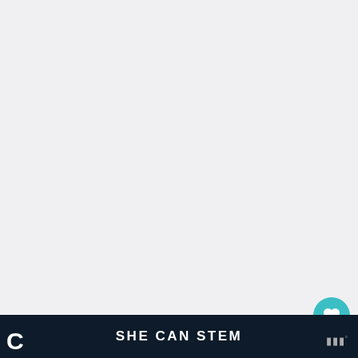[Figure (photo): Large mostly white/light gray photo area taking up bulk of the page, likely a food photo partially visible]
[Figure (screenshot): Small thumbnail image of a pie crust in a 'What's Next' recommendation bar on the right side]
Gluten-free French Fried
SHE CAN STEM